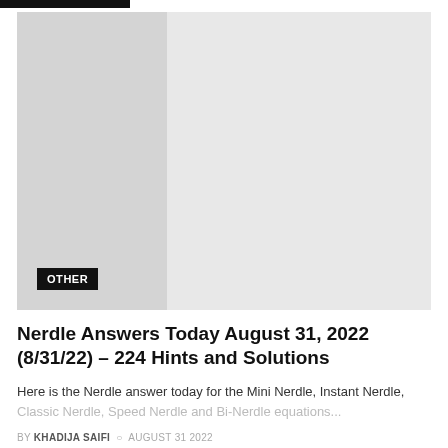[Figure (photo): Large light gray placeholder image with a darker gray left panel/column section and an 'OTHER' category badge in the lower left corner.]
Nerdle Answers Today August 31, 2022 (8/31/22) – 224 Hints and Solutions
Here is the Nerdle answer today for the Mini Nerdle, Instant Nerdle, Classic Nerdle, Speed Nerdle and Bi-Nerdle equations...
BY KHADIJA SAIFI  AUGUST 31 2022